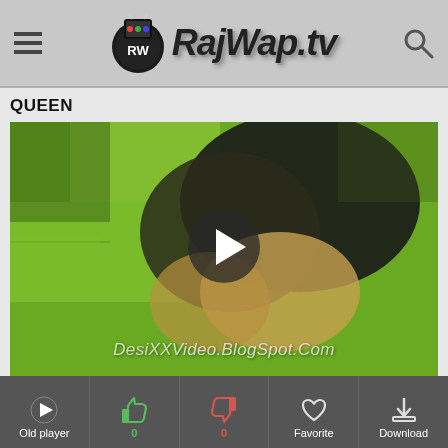RajWap.tv
QUEEN
[Figure (screenshot): Video player thumbnail showing a close-up of a person with dark hair against a green background, with a play button in the center and watermark text 'DesiXXVideo.BlogSpot.Com' at the bottom]
Old player | 0 likes | 0 dislikes | Favorite | Download
Show more